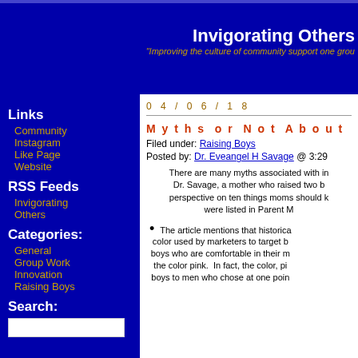Invigorating Others
"Improving the culture of community support one group..."
Links
Community
Instagram
Like Page
Website
RSS Feeds
Invigorating Others
Categories:
General
Group Work
Innovation
Raising Boys
Search:
04/06/18
Myths or Not About Infants...
Filed under: Raising Boys
Posted by: Dr. Eveangel H Savage @ 3:29...
There are many myths associated with infants... Dr. Savage, a mother who raised two boys... perspective on ten things moms should k... were listed in Parent M...
The article mentions that historically... color used by marketers to target b... boys who are comfortable in their m... the color pink. In fact, the color, pi... boys to men who chose at one poi...